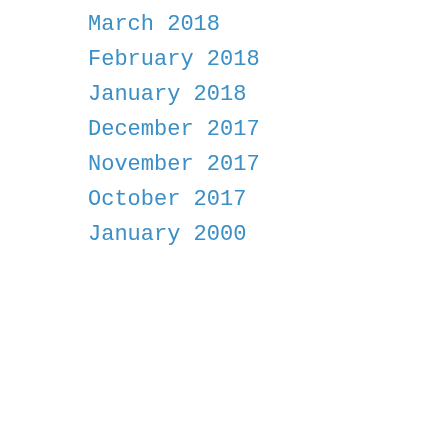March 2018
February 2018
January 2018
December 2017
November 2017
October 2017
January 2000
Privacy & Cookies: This site uses cookies. By continuing to use this website, you agree to their use.
To find out more, including how to control cookies, see here:
Cookie Policy
Close and accept